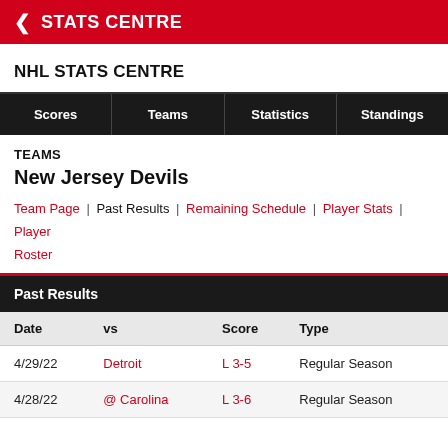STATS CENTRE
NHL STATS CENTRE
Scores | Teams | Statistics | Standings
TEAMS
New Jersey Devils
Team Page | Past Results | Remaining Schedule | Player Stats | Player Roster
Past Results
| Date | vs | Score | Type |
| --- | --- | --- | --- |
| 4/29/22 | Detroit | L 3-5 | Regular Season |
| 4/28/22 | @ Carolina | L 3-6 | Regular Season |